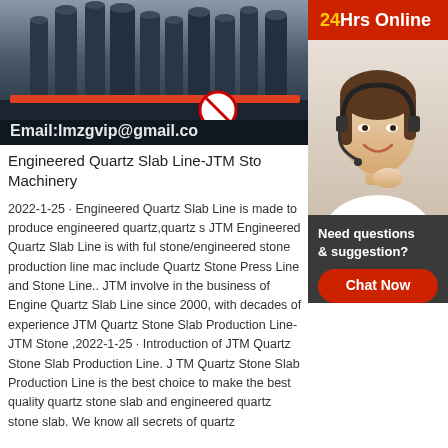[Figure (photo): Industrial machinery/stone production line equipment in a factory setting with email overlay text: Email:lmzgvip@gmail.co]
Engineered Quartz Slab Line-JTM Sto Machinery
2022-1-25 · Engineered Quartz Slab Line is made to produce engineered quartz,quartz s JTM Engineered Quartz Slab Line is with ful stone/engineered stone production line mac include Quartz Stone Press Line and Stone Line.. JTM involve in the business of Engine Quartz Slab Line since 2000, with decades of experience JTM Quartz Stone Slab Production Line- JTM Stone ,2022-1-25 · Introduction of JTM Quartz Stone Slab Production Line. J TM Quartz Stone Slab Production Line is the best choice to make the best quality quartz stone slab and engineered quartz stone slab. We know all secrets of quartz
[Figure (photo): 24Hrs Online banner with red background and yellow/white text, plus customer service agent photo (woman with headset smiling)]
Need questions & suggestion?
Chat Now